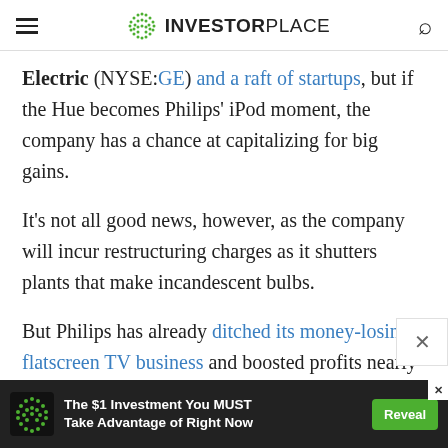INVESTORPLACE
Electric (NYSE:GE) and a raft of startups, but if the Hue becomes Philips' iPod moment, the company has a chance at capitalizing for big gains.
It's not all good news, however, as the company will incur restructuring charges as it shutters plants that make incandescent bulbs.
But Philips has already ditched its money-losing flatscreen TV business and boosted profits nearly 200% compared to the same quarter last year. It's stock has been on an upward trend lately, gaining 12% since th
[Figure (infographic): Advertisement banner: green dotted logo, white text 'The $1 Investment You MUST Take Advantage of Right Now', green Reveal button, X close button]